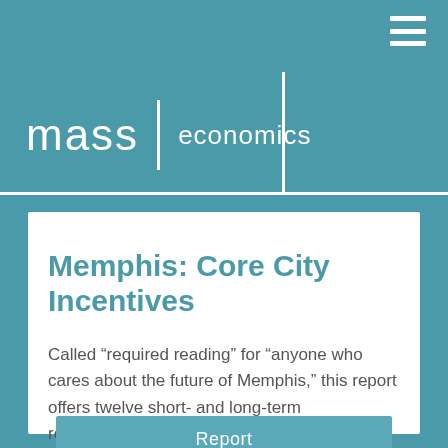mass economics
Memphis: Core City Incentives
Called “required reading” for “anyone who cares about the future of Memphis,” this report offers twelve short- and long-term recommendations for increasing investment and economic vitality in the City of Memphis.
Report